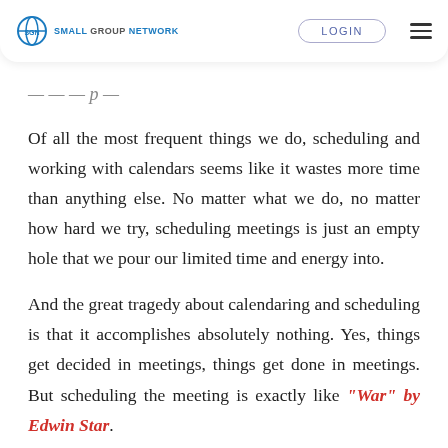SGN SMALL GROUP NETWORK | LOGIN
Of all the most frequent things we do, scheduling and working with calendars seems like it wastes more time than anything else. No matter what we do, no matter how hard we try, scheduling meetings is just an empty hole that we pour our limited time and energy into.
And the great tragedy about calendaring and scheduling is that it accomplishes absolutely nothing. Yes, things get decided in meetings, things get done in meetings. But scheduling the meeting is exactly like "War" by Edwin Star.